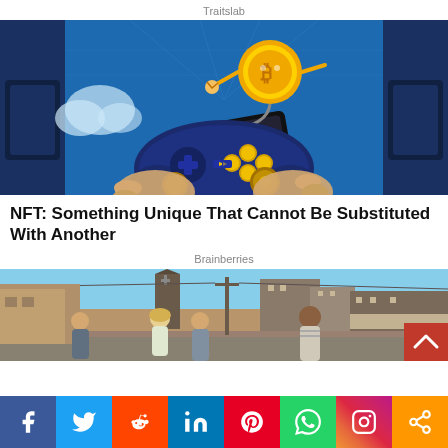Traitslab
[Figure (illustration): Anime-style illustration of hands holding a blue game controller with gold coin buttons, with an NFT token floating above connected by a cord, set against a blue digital corridor background]
NFT: Something Unique That Cannot Be Substituted With Another
Brainberries
[Figure (photo): Street scene photo with several young people looking up, with a church steeple and urban buildings in the background, appearing to be from a TV show or movie]
Social share bar: Facebook, Twitter, Reddit, LinkedIn, Pinterest, WhatsApp, Instagram, Share